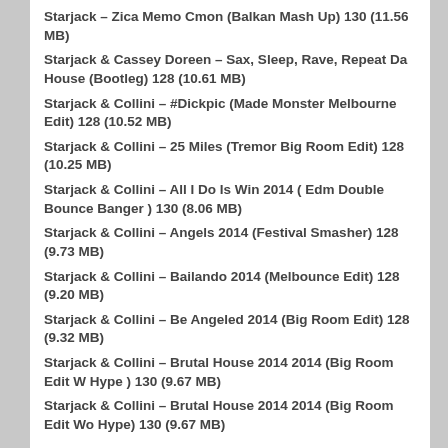Starjack – Zica Memo Cmon (Balkan Mash Up) 130 (11.56 MB)
Starjack & Cassey Doreen – Sax, Sleep, Rave, Repeat Da House (Bootleg) 128 (10.61 MB)
Starjack & Collini – #Dickpic (Made Monster Melbourne Edit) 128 (10.52 MB)
Starjack & Collini – 25 Miles (Tremor Big Room Edit) 128 (10.25 MB)
Starjack & Collini – All I Do Is Win 2014 ( Edm Double Bounce Banger ) 130 (8.06 MB)
Starjack & Collini – Angels 2014 (Festival Smasher) 128 (9.73 MB)
Starjack & Collini – Bailando 2014 (Melbounce Edit) 128 (9.20 MB)
Starjack & Collini – Be Angeled 2014 (Big Room Edit) 128 (9.32 MB)
Starjack & Collini – Brutal House 2014 2014 (Big Room Edit W Hype ) 130 (9.67 MB)
Starjack & Collini – Brutal House 2014 2014 (Big Room Edit Wo Hype) 130 (9.67 MB)